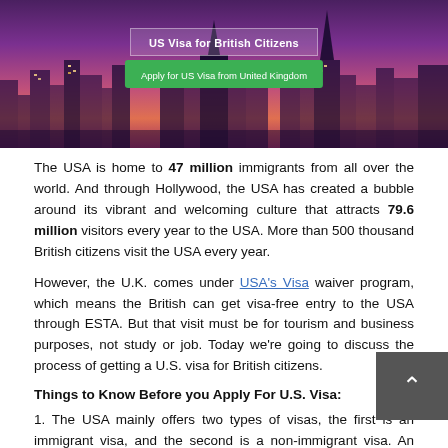[Figure (photo): Hero image showing a city skyline (New York) at dusk with purple/pink gradient background. Contains a white-bordered text box reading 'US Visa for British Citizens' and a green button 'Apply for US Visa from United Kingdom'.]
The USA is home to 47 million immigrants from all over the world. And through Hollywood, the USA has created a bubble around its vibrant and welcoming culture that attracts 79.6 million visitors every year to the USA. More than 500 thousand British citizens visit the USA every year.
However, the U.K. comes under USA's Visa waiver program, which means the British can get visa-free entry to the USA through ESTA. But that visit must be for tourism and business purposes, not study or job. Today we're going to discuss the process of getting a U.S. visa for British citizens.
Things to Know Before you Apply For U.S. Visa:
1. The USA mainly offers two types of visas, the first is an immigrant visa, and the second is a non-immigrant visa. An immigrant visa is for those seeking a job, education, or permanent residence in the U.S., And non-immigrant visas are for those seeking U.S. entry for a shorter period like for tourism, business, medical treatment, etc. purposes.
2. The process of an immigrant visa is strict and complicated;